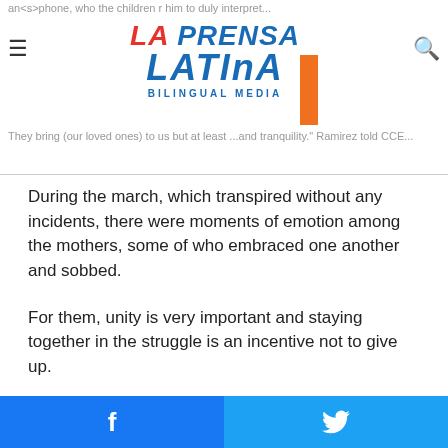La Prensa Latina Bilingual Media
During the march, which transpired without any incidents, there were moments of emotion among the mothers, some of who embraced one another and sobbed.
For them, unity is very important and staying together in the struggle is an incentive not to give up.
“We support each other. We’re here for the same fight: our murdered daughters. … I tell the mothers of the victims of femicide that they’re (not) alone in seeking help,” said Nayeli Aquino, the mother of Naela Daniela, also murdered in August
Facebook share | Twitter share